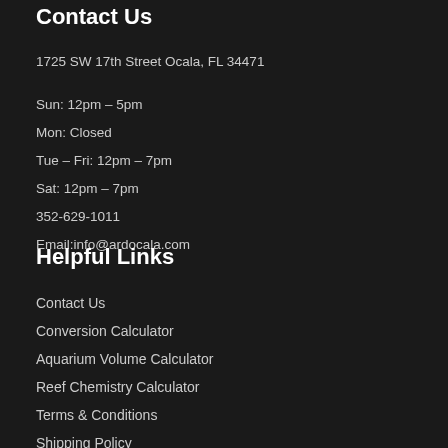Contact Us
1725 SW 17th Street Ocala, FL 34471
Sun: 12pm – 5pm
Mon: Closed
Tue – Fri: 12pm – 7pm
Sat: 12pm – 7pm
352-629-1011
Email:info@ardocala.com
Helpful Links
Contact Us
Conversion Calculator
Aquarium Volume Calculator
Reef Chemistry Calculator
Terms & Conditions
Shipping Policy